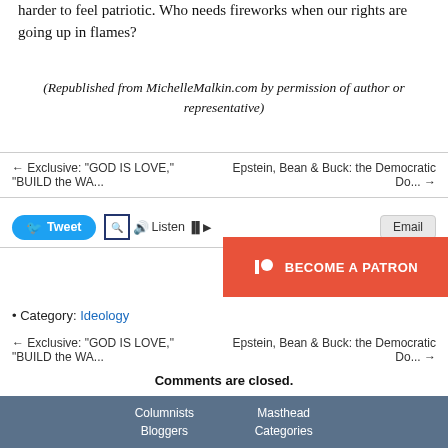harder to feel patriotic. Who needs fireworks when our rights are going up in flames?
(Republished from MichelleMalkin.com by permission of author or representative)
← Exclusive: "GOD IS LOVE," "BUILD the WA...
Epstein, Bean & Buck: the Democratic Do... →
[Figure (screenshot): Social sharing bar with Tweet button, Listen controls, and Email button]
[Figure (infographic): Become a Patron button in orange/red]
• Category: Ideology
← Exclusive: "GOD IS LOVE," "BUILD the WA...
Epstein, Bean & Buck: the Democratic Do... →
Comments are closed.
Columnists  Masthead  Bloggers  Categories